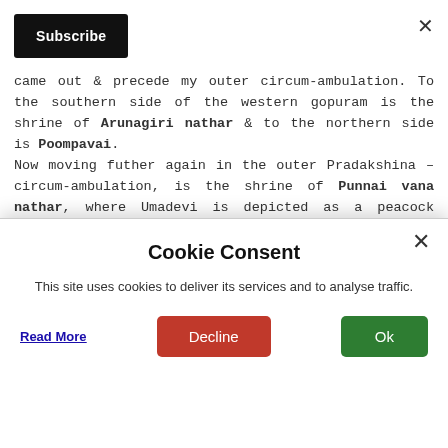Subscribe
came out & precede my outer circum-ambulation. To the southern side of the western gopuram is the shrine of Arunagiri nathar & to the northern side is Poompavai.
Now moving futher again in the outer Pradakshina – circum-ambulation, is the shrine of Punnai vana nathar, where Umadevi is depicted as a peacock worshipping linga, near it is the punnai tree – the Sthala Vruksham. Its believed that circumambulating the tree makes our wishes come true. Of course, it is tied up with several wishing strings and cradles. Then the shrine of
Cookie Consent
This site uses cookies to deliver its services and to analyse traffic.
Read More
Decline
Ok
outside the western Gopuram of the temple is the